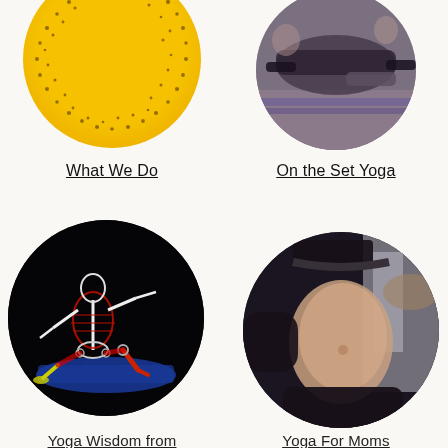[Figure (illustration): Orange/yellow circular badge with dot pattern and text 'Your Yoga & Wellness']
[Figure (photo): Circular cropped photo of people doing yoga poses on mats in a studio class]
What We Do
On the Set Yoga
[Figure (illustration): Circular black background image of anatomical skeleton/muscle figure in a yoga warrior lunge pose on a blue mat]
[Figure (photo): Circular cropped photo showing a pregnant woman's torso in black athletic wear doing yoga side plank]
Yoga Wisdom from
Yoga For Moms